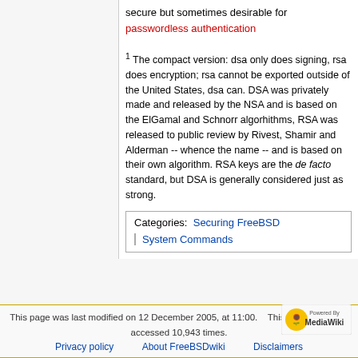secure but sometimes desirable for passwordless authentication
1 The compact version: dsa only does signing, rsa does encryption; rsa cannot be exported outside of the United States, dsa can. DSA was privately made and released by the NSA and is based on the ElGamal and Schnorr algorhithms, RSA was released to public review by Rivest, Shamir and Alderman -- whence the name -- and is based on their own algorithm. RSA keys are the de facto standard, but DSA is generally considered just as strong.
Categories: Securing FreeBSD | System Commands
This page was last modified on 12 December 2005, at 11:00. This page has been accessed 10,943 times. Privacy policy About FreeBSDwiki Disclaimers